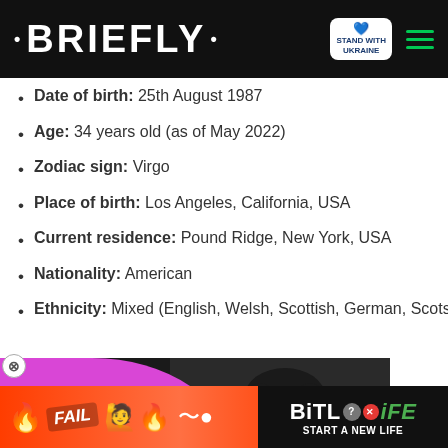• BRIEFLY •
Date of birth: 25th August 1987
Age: 34 years old (as of May 2022)
Zodiac sign: Virgo
Place of birth: Los Angeles, California, USA
Current residence: Pound Ridge, New York, USA
Nationality: American
Ethnicity: Mixed (English, Welsh, Scottish, German, Scots-
[Figure (screenshot): Video player overlay showing '30 YEARS LATER THE SAME TRAGEDY' with a man's photo and a play button]
[Figure (screenshot): Advertisement banner for BitLife game with 'START A NEW LIFE' tagline]